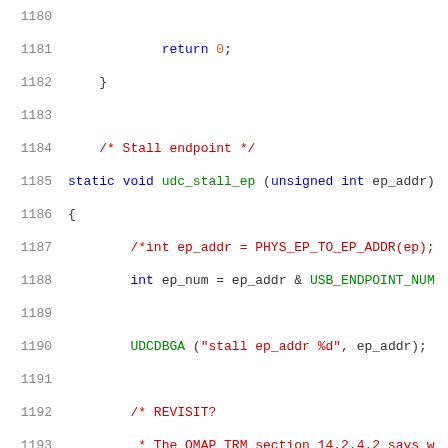Source code listing lines 1180-1201, C language, udc_stall_ep function
1180 (blank)
1181     return 0;
1182 }
1183 (blank)
1184 /* Stall endpoint */
1185 static void udc_stall_ep (unsigned int ep_addr)
1186 {
1187     /*int ep_addr = PHYS_EP_TO_EP_ADDR(ep);
1188     int ep_num = ep_addr & USB_ENDPOINT_NUM_
1189 (blank)
1190     UDCDBGA ("stall ep_addr %d", ep_addr);
1191 (blank)
1192     /* REVISIT?
1193     * The OMAP TRM section 14.2.4.2 says w
1194     * is empty before halting the endpoint
1195     * doesn't check that the FIFO is empty
1196     */
1197 (blank)
1198     if (!ep_num) {
1199         outw (UDC_Stall_Cmd, UDC_SYSCON
1200     } else if ((ep_addr & USB_ENDPOINT_DIR_
1201         if (inw (UDC_EP_RX (ep_num)) &